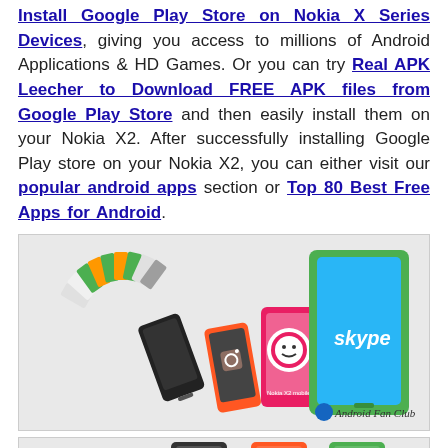Install Google Play Store on Nokia X Series Devices, giving you access to millions of Android Applications & HD Games. Or you can try Real APK Leecher to Download FREE APK files from Google Play Store and then easily install them on your Nokia X2. After successfully installing Google Play store on your Nokia X2, you can either visit our popular android apps section or Top 80 Best Free Apps for Android.
[Figure (photo): Multiple Nokia X2 smartphones displayed at angles showing colorful cases with apps like Skype, Instagram visible. Android Fan Club watermark in bottom right corner. Colorful arc of rectangles (green, orange, silver) in upper left.]
[Figure (photo): Nokia X2 devices shown from front, in black, orange, and green colors, partially visible at bottom of page.]